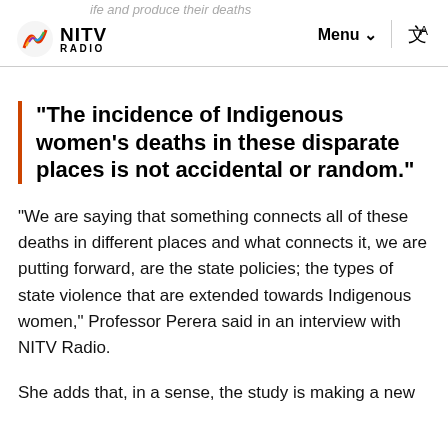NITV RADIO — Menu — life and produce their deaths
“The incidence of Indigenous women’s deaths in these disparate places is not accidental or random.”
“We are saying that something connects all of these deaths in different places and what connects it, we are putting forward, are the state policies; the types of state violence that are extended towards Indigenous women,” Professor Perera said in an interview with NITV Radio.
She adds that, in a sense, the study is making a new